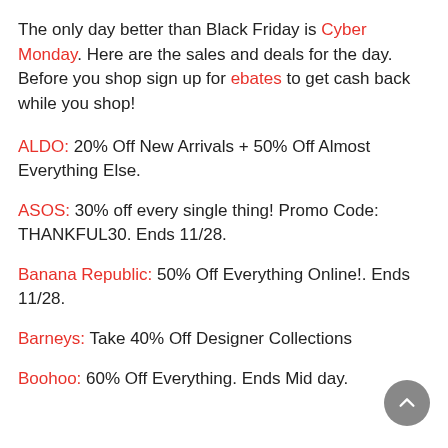The only day better than Black Friday is Cyber Monday. Here are the sales and deals for the day. Before you shop sign up for ebates to get cash back while you shop!
ALDO: 20% Off New Arrivals + 50% Off Almost Everything Else.
ASOS: 30% off every single thing! Promo Code: THANKFUL30. Ends 11/28.
Banana Republic: 50% Off Everything Online!. Ends 11/28.
Barneys: Take 40% Off Designer Collections
Boohoo: 60% Off Everything. Ends Mid day.